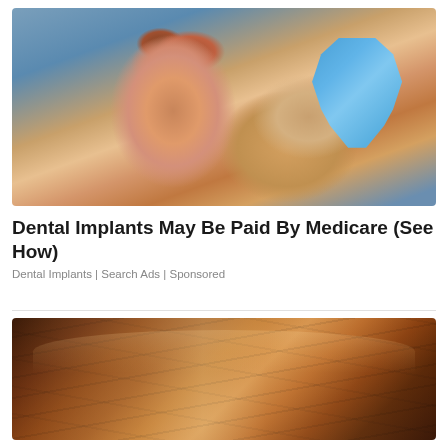[Figure (photo): Woman smiling in dental chair, holding a blue tooth-shaped mirror or card]
Dental Implants May Be Paid By Medicare (See How)
Dental Implants | Search Ads | Sponsored
[Figure (photo): Brown wooden coffin on white background]